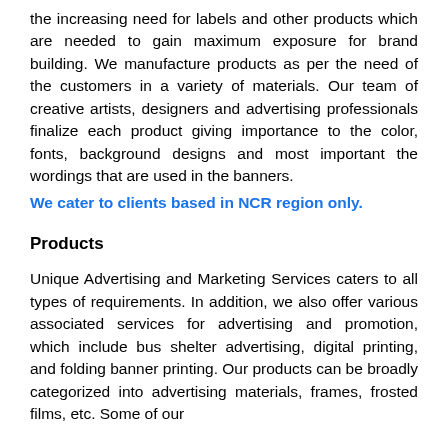the increasing need for labels and other products which are needed to gain maximum exposure for brand building. We manufacture products as per the need of the customers in a variety of materials. Our team of creative artists, designers and advertising professionals finalize each product giving importance to the color, fonts, background designs and most important the wordings that are used in the banners.
We cater to clients based in NCR region only.
Products
Unique Advertising and Marketing Services caters to all types of requirements. In addition, we also offer various associated services for advertising and promotion, which include bus shelter advertising, digital printing, and folding banner printing. Our products can be broadly categorized into advertising materials, frames, frosted films, etc. Some of our